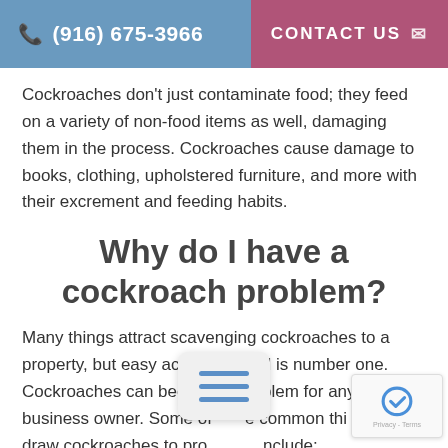(916) 675-3966  CONTACT US
Cockroaches don't just contaminate food; they feed on a variety of non-food items as well, damaging them in the process. Cockroaches cause damage to books, clothing, upholstered furniture, and more with their excrement and feeding habits.
Why do I have a cockroach problem?
Many things attract scavenging cockroaches to a property, but easy access to food is number one. Cockroaches can become a problem for any home or business owner. Some of the common things that draw cockroaches to properties include: